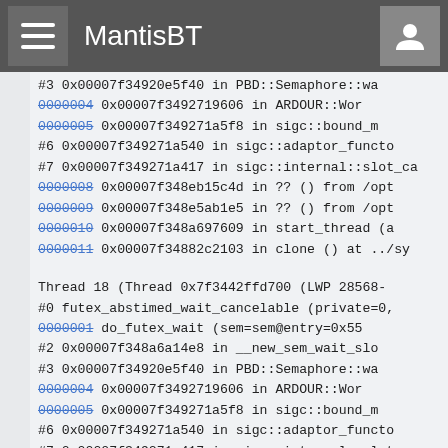MantisBT
#3 0x00007f34920e5f40 in PBD::Semaphore::wa
0000004 0x00007f3492719606 in ARDOUR::Wor
0000005 0x00007f349271a5f8 in sigc::bound_m
#6 0x00007f349271a540 in sigc::adaptor_functo
#7 0x00007f349271a417 in sigc::internal::slot_ca
0000008 0x00007f348eb15c4d in ?? () from /opt
0000009 0x00007f348e5ab1e5 in ?? () from /opt
0000010 0x00007f348a697609 in start_thread (a
0000011 0x00007f34882c2103 in clone () at ../sy

Thread 18 (Thread 0x7f3442ffd700 (LWP 28568-
#0 futex_abstimed_wait_cancelable (private=0,
0000001 do_futex_wait (sem=sem@entry=0x55
#2 0x00007f348a6a14e8 in __new_sem_wait_slo
#3 0x00007f34920e5f40 in PBD::Semaphore::wa
0000004 0x00007f3492719606 in ARDOUR::Wor
0000005 0x00007f349271a5f8 in sigc::bound_m
#6 0x00007f349271a540 in sigc::adaptor_functo
#7 0x00007f349271a417 in sigc::internal::slot_ca
0000008 0x00007f348eb15c4d in ?? () from /opt
0000009 0x00007f348e5ab1e5 in ?? () from /op
0000010 0x00007f348a697609 in start_threa